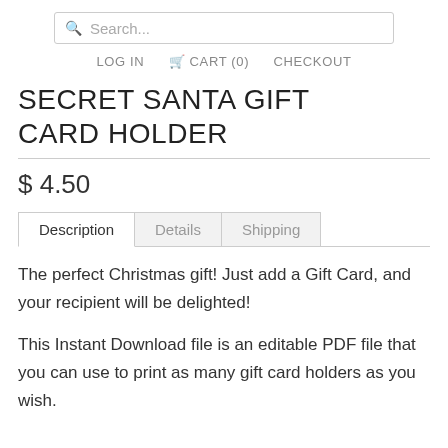Search... LOG IN CART (0) CHECKOUT
SECRET SANTA GIFT CARD HOLDER
$ 4.50
Description | Details | Shipping
The perfect Christmas gift!  Just add a Gift Card, and your recipient will be delighted!
This Instant Download file is an editable PDF file that you can use to print as many gift card holders as you wish.